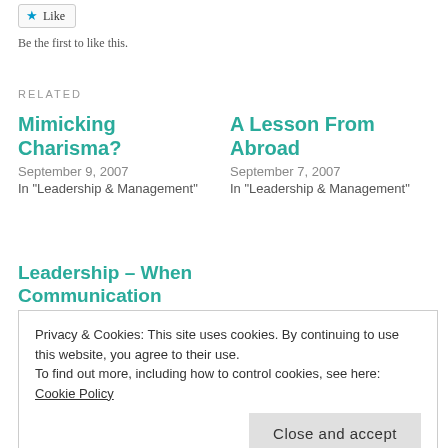[Figure (other): Like button with star icon]
Be the first to like this.
RELATED
Mimicking Charisma?
September 9, 2007
In "Leadership & Management"
A Lesson From Abroad
September 7, 2007
In "Leadership & Management"
Leadership – When Communication Means Not Talking
September 7, 2007
Privacy & Cookies: This site uses cookies. By continuing to use this website, you agree to their use.
To find out more, including how to control cookies, see here: Cookie Policy
Close and accept
TAGS BYRON KATIE; LEADERSHIP; WALES